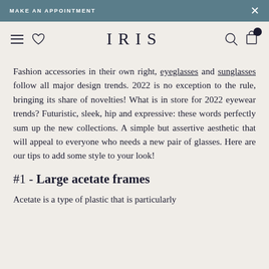MAKE AN APPOINTMENT
IRIS
Fashion accessories in their own right, eyeglasses and sunglasses follow all major design trends. 2022 is no exception to the rule, bringing its share of novelties! What is in store for 2022 eyewear trends? Futuristic, sleek, hip and expressive: these words perfectly sum up the new collections. A simple but assertive aesthetic that will appeal to everyone who needs a new pair of glasses. Here are our tips to add some style to your look!
#1 - Large acetate frames
Acetate is a type of plastic that is particularly